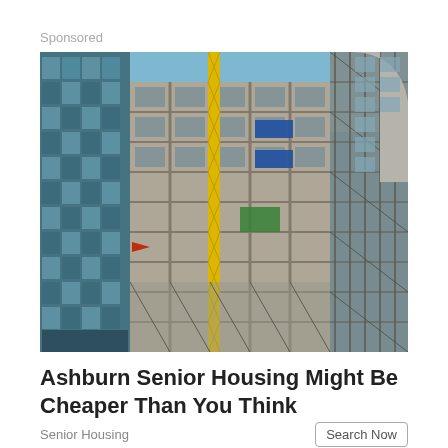Sponsored
[Figure (photo): Construction site photograph showing a large building under construction with yellow tower crane, scaffolding, concrete framework, blue equipment on upper floors, and glass office buildings in the background.]
Ashburn Senior Housing Might Be Cheaper Than You Think
Senior Housing
Search Now